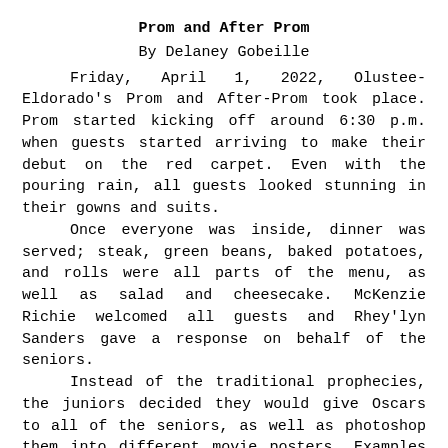Prom and After Prom
By Delaney Gobeille
Friday, April 1, 2022, Olustee-Eldorado's Prom and After-Prom took place. Prom started kicking off around 6:30 p.m. when guests started arriving to make their debut on the red carpet. Even with the pouring rain, all guests looked stunning in their gowns and suits.

Once everyone was inside, dinner was served; steak, green beans, baked potatoes, and rolls were all parts of the menu, as well as salad and cheesecake. McKenzie Richie welcomed all guests and Rhey'lyn Sanders gave a response on behalf of the seniors.

Instead of the traditional prophecies, the juniors decided they would give Oscars to all of the seniors, as well as photoshop them into different movie posters. Examples include: Tyler